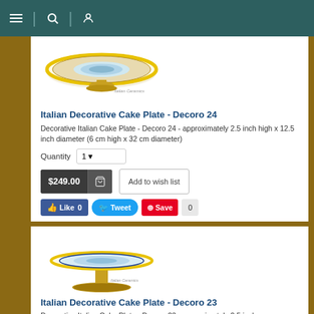Navigation header with menu, search, and user icons
[Figure (photo): Italian decorative ceramic cake plate with colorful pattern, top-down view on a pedestal stand]
Italian Decorative Cake Plate - Decoro 24
Decorative Italian Cake Plate - Decoro 24 - approximately 2.5 inch high x 12.5 inch diameter (6 cm high x 32 cm diameter)
Quantity 1 [dropdown]
$249.00 [Add to cart button] [Add to wish list button]
Like 0 | Tweet | Save | 0
[Figure (photo): Italian decorative ceramic cake plate Decoro 23 on pedestal stand, side view showing blue and yellow pattern]
Italian Decorative Cake Plate - Decoro 23
Decorative Italian Cake Plate - Decoro 23 - approximately 2.5 inch...